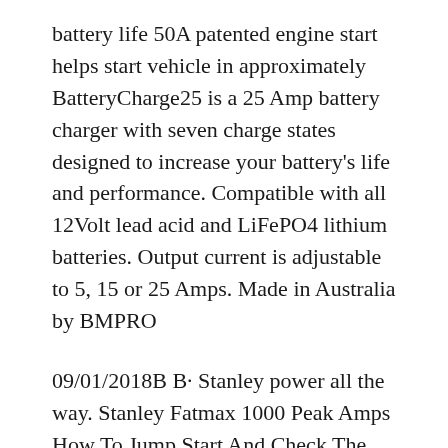battery life 50A patented engine start helps start vehicle in approximately BatteryCharge25 is a 25 Amp battery charger with seven charge states designed to increase your battery's life and performance. Compatible with all 12Volt lead acid and LiFePO4 lithium batteries. Output current is adjustable to 5, 15 or 25 Amps. Made in Australia by BMPRO
09/01/2018B B· Stanley power all the way. Stanley Fatmax 1000 Peak Amps How To Jump Start And Check The Alternator On Your Vehicle - Duration: 4:17. Welding and stuff 33,112 views 14/03/2018B B· Watch until the end, in futility, me explaining to the cat why he's not allowed in the house.